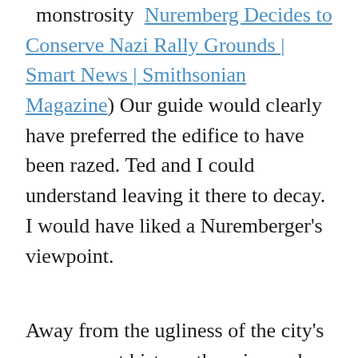monstrosity Nuremberg Decides to Conserve Nazi Rally Grounds | Smart News | Smithsonian Magazine) Our guide would clearly have preferred the edifice to have been razed. Ted and I could understand leaving it there to decay. I would have liked a Nuremberger's viewpoint.
Away from the ugliness of the city's more recent history, there is much beauty. The magnificent Gothic-style Frauenkirche (Church of Our Lady), built in the decade between 1352 and 1362, towers over the main marketplace. Only the nave and the facade are original, the rest having